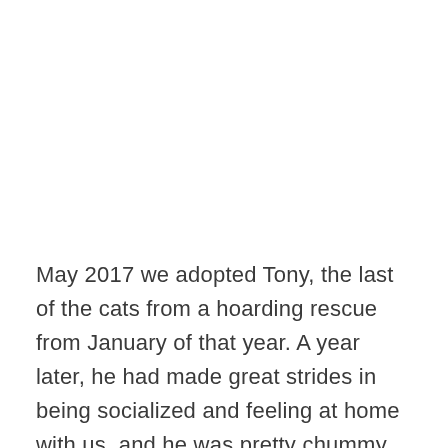May 2017 we adopted Tony, the last of the cats from a hoarding rescue from January of that year. A year later, he had made great strides in being socialized and feeling at home with us, and he was pretty chummy with the two of our cats who were more mild-mannered. But he was urinating all over the